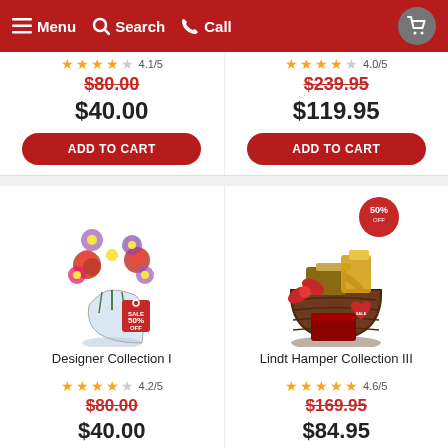Menu  Search  Call
$80.00 (strikethrough)  $40.00  |  $239.95 (strikethrough)  $119.95
ADD TO CART | ADD TO CART
[Figure (photo): Bouquet of pink, red, and white flowers in a glass vase with a SALE 50% OFF tag]
[Figure (photo): Gift basket with chocolates and goodies, with 50% OFF badge]
Designer Collection I
Lindt Hamper Collection III
4.2/5 rating  $80.00 (strikethrough)  $40.00
4.6/5 rating  $169.95 (strikethrough)  $84.95